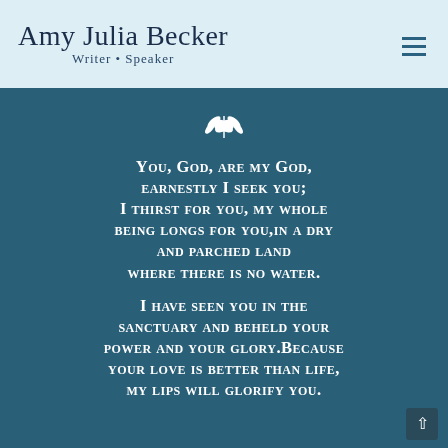Amy Julia Becker
Writer • Speaker
You, God, are my God, earnestly I seek you; I thirst for you, my whole being longs for you, in a dry and parched land where there is no water.

I have seen you in the sanctuary and beheld your power and your glory. Because your love is better than life, my lips will glorify you.